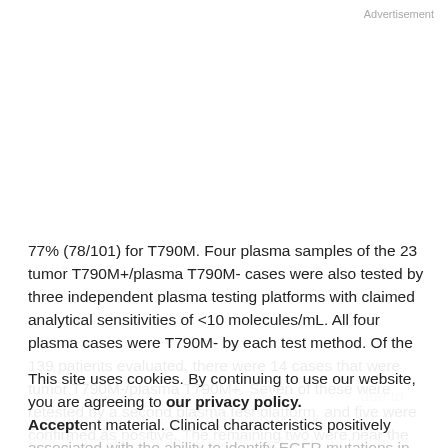Advertisement
77% (78/101) for T790M. Four plasma samples of the 23 tumor T790M+/plasma T790M- cases were also tested by three independent plasma testing platforms with claimed analytical sensitivities of <10 molecules/mL. All four plasma cases were T790M- by each test method. Of the 139 patients evaluated, there were 14 cases that were tumor T790M-/plasma T790M+. Seven of these were retested by a second plasma test platform, and five were confirmed as positive. The remaining two were near the
This site uses cookies. By continuing to use our website, you are agreeing to our privacy policy. Accept
les from T790M+ ... due to ent material. Clinical characteristics positively associated with the ability to identify EGFR mutations in